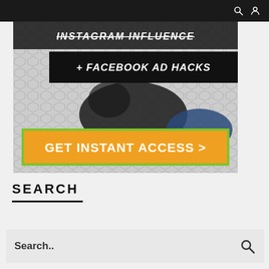Navigation bar with search and user icons
[Figure (infographic): Advertisement banner for Instagram Influence + Facebook Ad Hacks course with 'GET INSTANT ACCESS >' call-to-action button on orange background with green border, overlaid on a photo of people lying on a hex-tile floor]
SEARCH
Search..